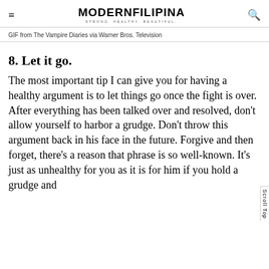MODERNFILIPINA — STRONG. HEALTHY. BEAUTIFUL.
GIF from The Vampire Diaries via Warner Bros. Television
8. Let it go.
The most important tip I can give you for having a healthy argument is to let things go once the fight is over. After everything has been talked over and resolved, don't allow yourself to harbor a grudge. Don't throw this argument back in his face in the future. Forgive and then forget, there's a reason that phrase is so well-known. It's just as unhealthy for you as it is for him if you hold a grudge and